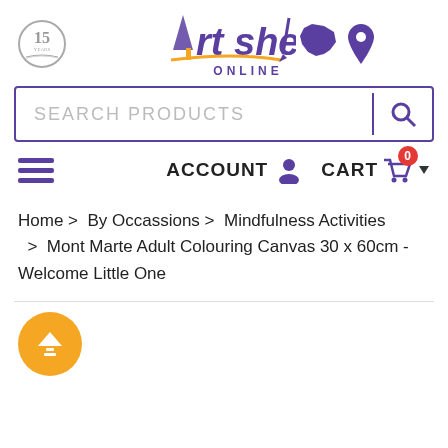[Figure (logo): Art Shed Online logo with paintbrush, Australia map icon, and location pin icon. 15 years badge on the left.]
[Figure (screenshot): Search products input bar with purple border and search icon]
[Figure (screenshot): Navigation bar with hamburger menu, ACCOUNT icon, and CART with 0 badge]
Home > By Occassions > Mindfulness Activities > Mont Marte Adult Colouring Canvas 30 x 60cm - Welcome Little One
[Figure (illustration): Yellow circular upload/scroll-to-top button with up arrow and lines]